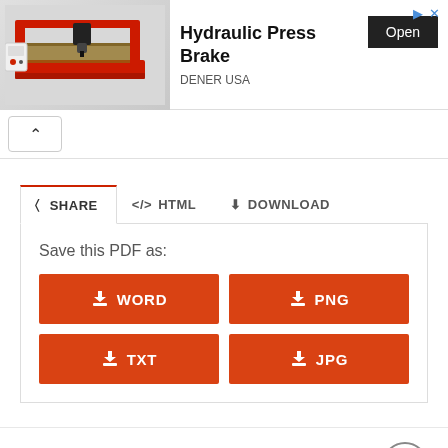[Figure (infographic): Advertisement banner for Hydraulic Press Brake by DENER USA, showing a CNC machine image on the left, bold title text in center, and an Open button on the right]
Save this PDF as:
WORD
PNG
TXT
JPG
Hubert Casey  4 years ago  Views: